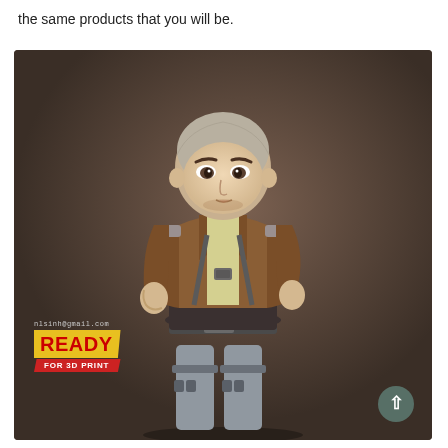the same products that you will be.
[Figure (illustration): 3D rendered anime-style character figure: a young person with a shaved head wearing a brown jacket, light yellow shirt, dark pants, grey trousers with leg straps/harnesses, and a chest harness. The figure is posed in a confident stance against a dark brownish-grey background. In the lower left corner there is a watermark reading 'nlsinh@gmail.com' and a yellow and red badge reading 'READY FOR 3D PRINT'. A small teal circular scroll-to-top button appears in the bottom right corner.]